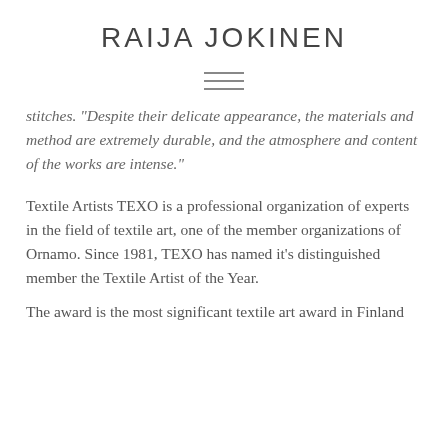RAIJA JOKINEN
stitches. "Despite their delicate appearance, the materials and method are extremely durable, and the atmosphere and content of the works are intense."
Textile Artists TEXO is a professional organization of experts in the field of textile art, one of the member organizations of Ornamo. Since 1981, TEXO has named it's distinguished member the Textile Artist of the Year.
The award is the most significant textile art award in Finland...